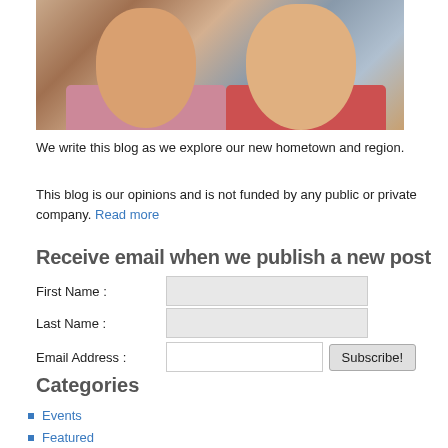[Figure (photo): Two people smiling in an outdoor photo, a man in a plaid shirt and a woman with glasses and dark hair]
We write this blog as we explore our new hometown and region.
This blog is our opinions and is not funded by any public or private company. Read more
Receive email when we publish a new post
First Name :
Last Name :
Email Address :
Categories
Events
Featured